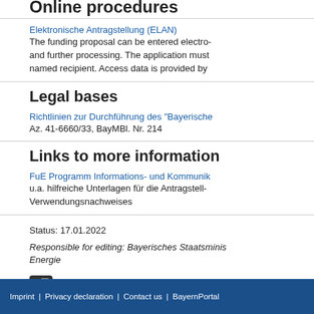Online procedures
Elektronische Antragstellung (ELAN)
The funding proposal can be entered electro... and further processing. The application must... named recipient. Access data is provided by...
Legal bases
Richtlinien zur Durchführung des "Bayerische...
Az. 41-6660/33, BayMBl. Nr. 214
Links to more information
FuE Programm Informations- und Kommunik...
u.a. hilfreiche Unterlagen für die Antragstell... Verwendungsnachweises
Status: 17.01.2022
Responsible for editing: Bayerisches Staatsministeri... Energie
Contains machine translated content. S...
CAPTION
Top of page
Imprint | Privacy declaration | Contact us | BayernPortal